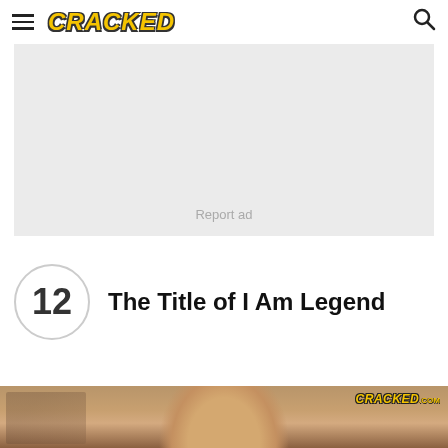CRACKED
[Figure (other): Gray advertisement placeholder box with 'Report ad' text]
Report ad
12 The Title of I Am Legend
[Figure (photo): Bottom strip showing a person's head/face with CRACKED.COM logo watermark in top right corner of the image]